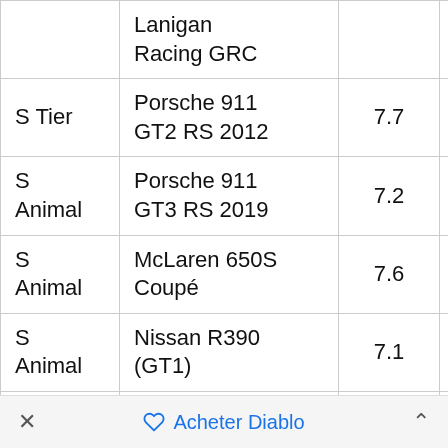|  |  |  |  |  |
| --- | --- | --- | --- | --- |
|  | Lanigan Racing GRC |  |  |  |
| S Tier | Porsche 911 GT2 RS 2012 | 7.7 | 7.6 | 8 |
| S Animal | Porsche 911 GT3 RS 2019 | 7.2 | 8.4 | 7 |
| S Animal | McLaren 650S Coupé | 7.6 | 7.2 | 6 |
| S Animal | Nissan R390 (GT1) | 7.1 | 7.8 | 6 |
| S | Ferrari Enzo |  |  |  |
× ♡ Acheter Diablo ^